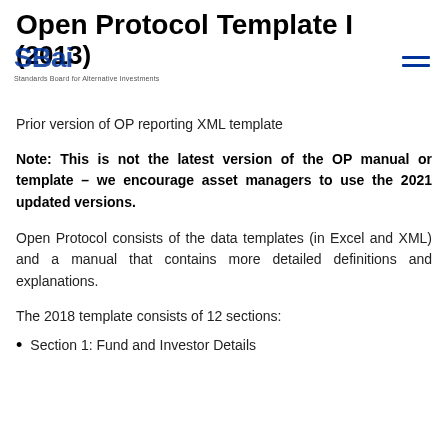Open Protocol Template I (2013)
Prior version of OP reporting XML template
Note: This is not the latest version of the OP manual or template – we encourage asset managers to use the 2021 updated versions.
Open Protocol consists of the data templates (in Excel and XML) and a manual that contains more detailed definitions and explanations.
The 2018 template consists of 12 sections:
Section 1: Fund and Investor Details